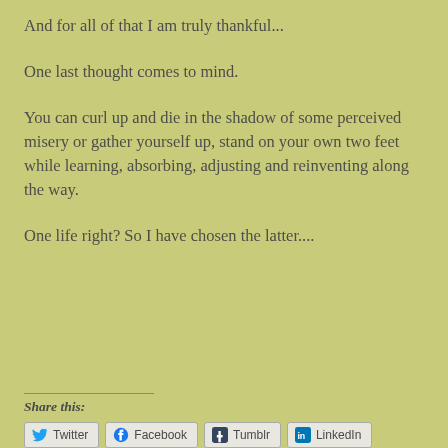And for all of that I am truly thankful...
One last thought comes to mind.
You can curl up and die in the shadow of some perceived misery or gather yourself up, stand on your own two feet while learning, absorbing, adjusting and reinventing along the way.
One life right? So I have chosen the latter....
Share this:
Twitter  Facebook  Tumblr  LinkedIn